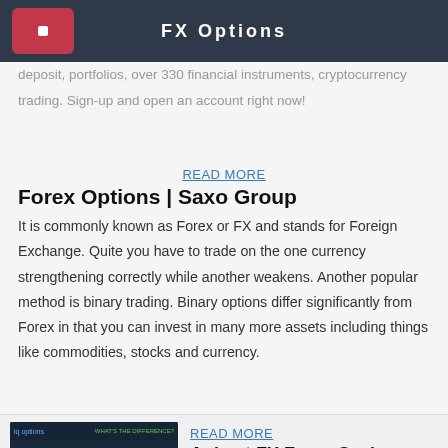FX Options
deposit, portfolios, over 330 financial instruments, cryptocurrency trading. Sign-up and open an account right now!
READ MORE
Forex Options | Saxo Group
It is commonly known as Forex or FX and stands for Foreign Exchange. Quite you have to trade on the one currency strengthening correctly while another weakens. Another popular method is binary trading. Binary options differ significantly from Forex in that you can invest in many more assets including things like commodities, stocks and currency.
[Figure (screenshot): Screenshot showing binary options vs forex comparison interface with monitors displaying trading charts]
READ MORE
Agimat FX Forex Scalper Trader Non Repaint Indicator